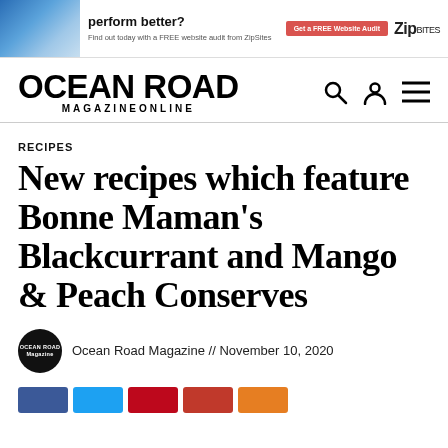[Figure (screenshot): Ad banner for ZipSites with photo of person typing on laptop, text 'perform better?', 'Find out today with a FREE website audit from ZipSites', red button 'Get a FREE Website Audit', and ZipSites logo]
OCEAN ROAD MAGAZINEONLINE
RECIPES
New recipes which feature Bonne Maman's Blackcurrant and Mango & Peach Conserves
Ocean Road Magazine // November 10, 2020